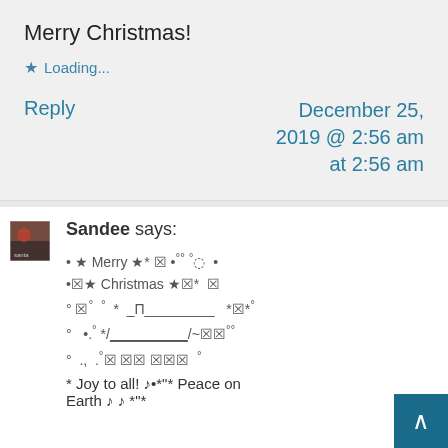Merry Christmas!
★ Loading...
Reply
December 25, 2019 @ 2:56 am at 2:56 am
[Figure (photo): Small avatar thumbnail showing a festive image]
Sandee says:
• ★ Merry ★* 🄳 •°° °◌ •
•🄳★ Christmas ★🄳* 🄳
° 🄳° ° * _Π_________  *🄳*°
°   •.° */___________/~🄳🄳° °
°    .,° °🄳 🄳🄳 🄳🄳🄳 °
* Joy to all! ♩•*"* Peace on
Earth ♩ ♩ *"*